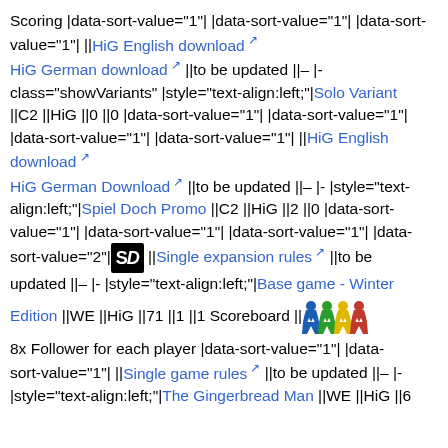Scoring |data-sort-value="1"| |data-sort-value="1"| |data-sort-value="1"| ||HiG English download HiG German download ||to be updated ||– |- class="showVariants" |style="text-align:left;"|Solo Variant ||C2 ||HiG ||0 ||0 |data-sort-value="1"| |data-sort-value="1"| |data-sort-value="1"| |data-sort-value="1"| ||HiG English download HiG German Download ||to be updated ||– |- |style="text-align:left;"|Spiel Doch Promo ||C2 ||HiG ||2 ||0 |data-sort-value="1"| |data-sort-value="1"| |data-sort-value="1"| |data-sort-value="2"| [SD logo] ||Single expansion rules ||to be updated ||– |- |style="text-align:left;"|Base game - Winter Edition ||WE ||HiG ||71 ||1 ||1 Scoreboard || [meeples] 8x Follower for each player |data-sort-value="1"| |data-sort-value="1"| ||Single game rules ||to be updated ||– |- |style="text-align:left;"|The Gingerbread Man ||WE ||HiG ||6